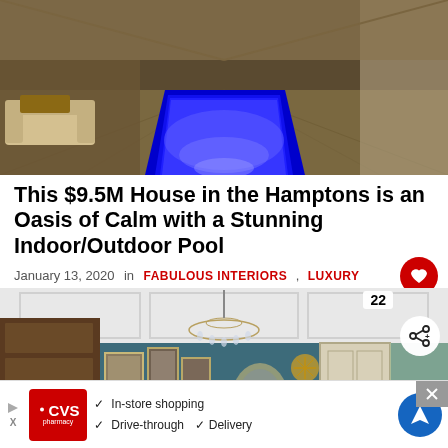[Figure (photo): Indoor swimming pool with glowing blue water illumination extending down a long narrow corridor, with seating area visible on left and wooden floors.]
This $9.5M House in the Hamptons is an Oasis of Calm with a Stunning Indoor/Outdoor Pool
January 13, 2020  in  FABULOUS INTERIORS ,  LUXURY
[Figure (photo): Interior room with teal/blue painted walls, coffered white ceiling with chandelier, gallery wall of framed artwork, antique furniture and decorative mirror.]
22
WHAT'S NEXT → A Charming Family Hom...
[Figure (screenshot): CVS Pharmacy advertisement banner showing in-store shopping, drive-through, and delivery options with CVS logo, checkmarks, and navigation icon.]